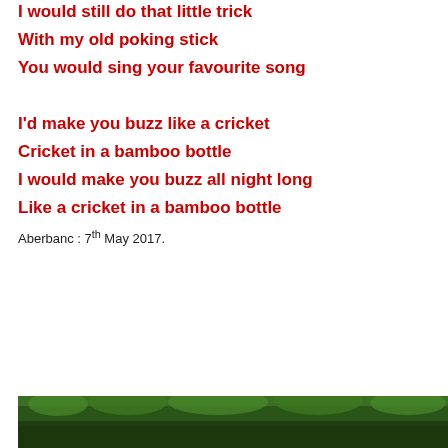I would still do that little trick
With my old poking stick
You would sing your favourite song
I'd make you buzz like a cricket
Cricket in a bamboo bottle
I would make you buzz all night long
Like a cricket in a bamboo bottle
Aberbanc : 7th May 2017.
[Figure (photo): Photograph of trees with green foliage]